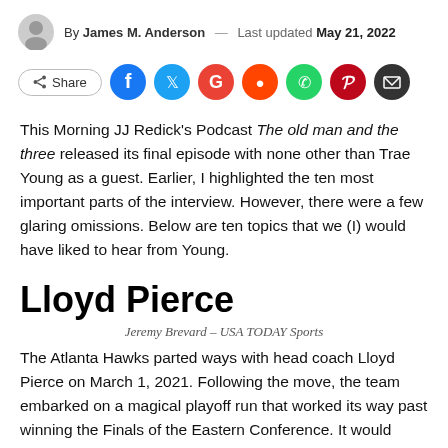By James M. Anderson — Last updated May 21, 2022
[Figure (infographic): Social share buttons row: Share button, Facebook, Twitter, Google+, Reddit, WhatsApp, Pinterest, Email icons]
This Morning JJ Redick's Podcast The old man and the three released its final episode with none other than Trae Young as a guest. Earlier, I highlighted the ten most important parts of the interview. However, there were a few glaring omissions. Below are ten topics that we (I) would have liked to hear from Young.
Lloyd Pierce
Jeremy Brevard – USA TODAY Sports
The Atlanta Hawks parted ways with head coach Lloyd Pierce on March 1, 2021. Following the move, the team embarked on a magical playoff run that worked its way past winning the Finals of the Eastern Conference. It would have been interesting to hear Young's thoughts on the decision, the timing, and a thought about his first NBA coach.